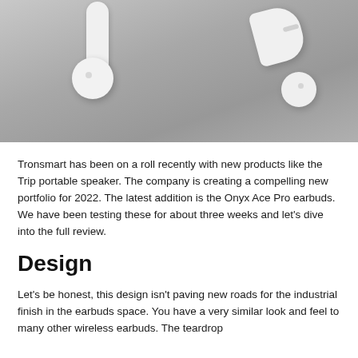[Figure (photo): Black and white photo of two white wireless earbuds (Tronsmart Onyx Ace Pro) placed on a dark metallic surface. One earbud shows its stem pointing upward on the left, the other on the right shows a slot/sensor on its body.]
Tronsmart has been on a roll recently with new products like the Trip portable speaker. The company is creating a compelling new portfolio for 2022. The latest addition is the Onyx Ace Pro earbuds. We have been testing these for about three weeks and let’s dive into the full review.
Design
Let’s be honest, this design isn’t paving new roads for the industrial finish in the earbuds space. You have a very similar look and feel to many other wireless earbuds. The teardrop